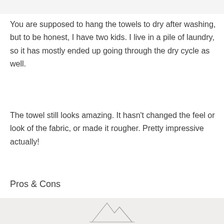[Figure (photo): Partial top edge of a photo, light colored background]
You are supposed to hang the towels to dry after washing, but to be honest, I have two kids. I live in a pile of laundry, so it has mostly ended up going through the dry cycle as well.
The towel still looks amazing. It hasn't changed the feel or look of the fabric, or made it rougher. Pretty impressive actually!
Pros & Cons
[Figure (photo): Partial bottom photo showing white towels with a small mountain/geometric logo visible]